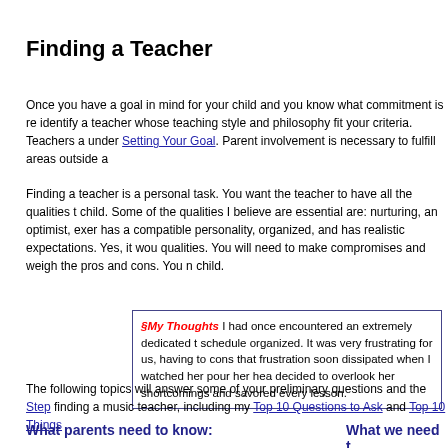Finding a Teacher
Once you have a goal in mind for your child and you know what commitment is re... identify a teacher whose teaching style and philosophy fit your criteria. Teachers a... under Setting Your Goal. Parent involvement is necessary to fulfill areas outside a...
Finding a teacher is a personal task. You want the teacher to have all the qualities t... child. Some of the qualities I believe are essential are: nurturing, an optimist, exer... has a compatible personality, organized, and has realistic expectations. Yes, it wou... qualities. You will need to make compromises and weigh the pros and cons. You n... child.
§My Thoughts I had once encountered an extremely dedicated t... schedule organized. It was very frustrating for us, having to cons... that frustration soon dissipated when I watched her pour her hea... decided to overlook her shortcomings and savored every lesson.
The following topics will answer some of your preliminary questions and the Step... finding a music teacher, including my Top 10 Questions to Ask and Top 10 Things...
What parents need to know:
What we need t...